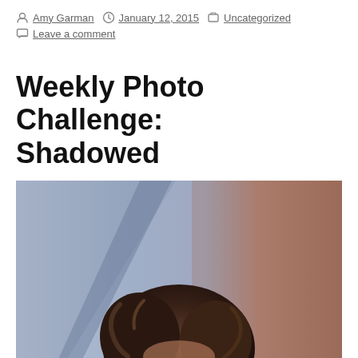By Amy Garman  January 12, 2015  Uncategorized  Leave a comment
Weekly Photo Challenge: Shadowed
[Figure (photo): A person with curly dark hair photographed against a wall with a shadow cast behind them. The background shows a gradient from blue/grey on the left to warm brown on the right, with a diagonal shadow line dividing the two tones. The subject's head and hair are visible in the lower portion of the image.]